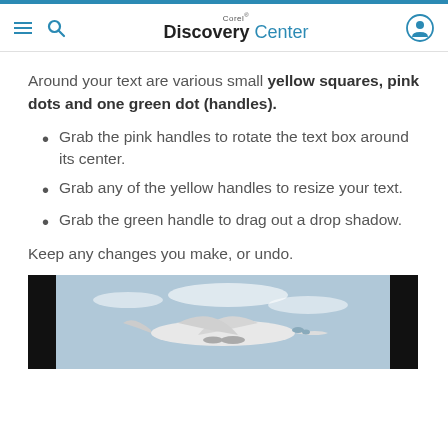Corel Discovery Center
Around your text are various small yellow squares, pink dots and one green dot (handles).
Grab the pink handles to rotate the text box around its center.
Grab any of the yellow handles to resize your text.
Grab the green handle to drag out a drop shadow.
Keep any changes you make, or undo.
[Figure (photo): Photo of an airplane in flight against a sky background, with black borders on left and right sides.]